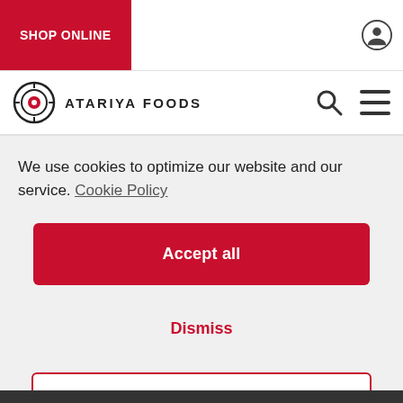SHOP ONLINE
[Figure (logo): Atariya Foods logo with target/bullseye icon and brand name ATARIYA FOODS]
We use cookies to optimize our website and our service.  Cookie Policy
Accept all
Dismiss
Preferences